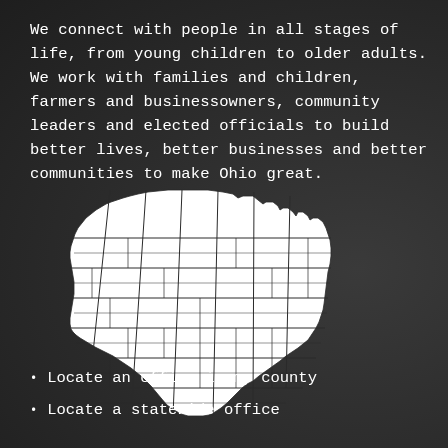We connect with people in all stages of life, from young children to older adults. We work with families and children, farmers and businessowners, community leaders and elected officials to build better lives, better businesses and better communities to make Ohio great.
[Figure (map): White outline map of Ohio showing county boundaries on dark background]
Locate an office in my county
Locate a statewide office